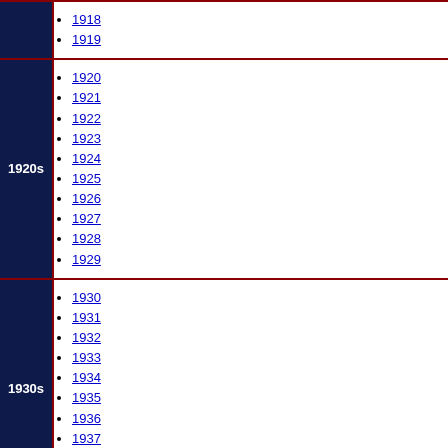1918
1919
1920
1921
1922
1923
1924
1925
1926
1927
1928
1929
1930
1931
1932
1933
1934
1935
1936
1937
1938
1939
1940